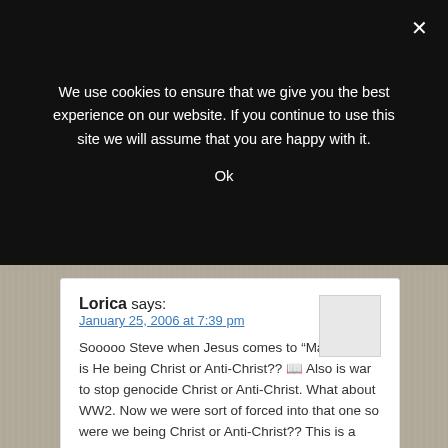We use cookies to ensure that we give you the best experience on our website. If you continue to use this site we will assume that you are happy with it.
Ok
Lorica says:
January 25, 2006 at 7:39 pm

Sooooo Steve when Jesus comes to “Make War” is He being Christ or Anti-Christ?? Also is war to stop genocide Christ or Anti-Christ. What about WW2. Now we were sort of forced into that one so were we being Christ or Anti-Christ?? This is a very confusing theology. But keep the faith – Lorica